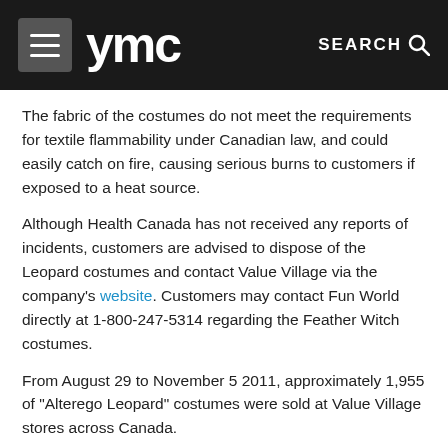ymc   SEARCH
The fabric of the costumes do not meet the requirements for textile flammability under Canadian law, and could easily catch on fire, causing serious burns to customers if exposed to a heat source.
Although Health Canada has not received any reports of incidents, customers are advised to dispose of the Leopard costumes and contact Value Village via the company's website. Customers may contact Fun World directly at 1-800-247-5314 regarding the Feather Witch costumes.
From August 29 to November 5 2011, approximately 1,955 of "Alterego Leopard" costumes were sold at Value Village stores across Canada.
From January 2007 to September 2011, approximately 415 "Feather Witch" Halloween Costumes were sold at various retail and novelty stores in Ontario and Quebec.